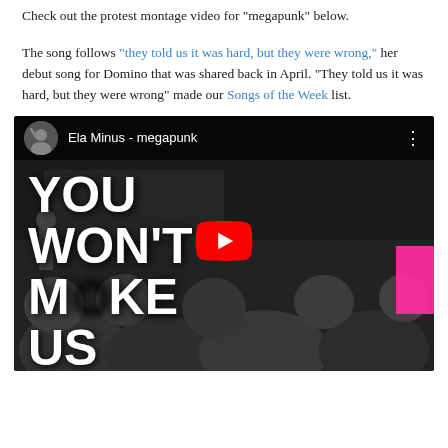Check out the protest montage video for “megapunk” below.
The song follows “they told us it was hard, but they were wrong,” her debut song for Domino that was shared back in April. “They told us it was hard, but they were wrong” made our Songs of the Week list.
[Figure (screenshot): YouTube video embed showing Ela Minus - megapunk with protest footage displaying text YOU WON'T MAKE US STOP and a YouTube play button overlay]